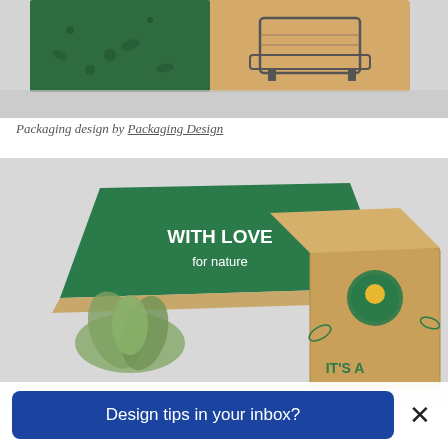[Figure (photo): Top portion of a craft cardboard packaging box with green botanical illustration design and bathtub line drawing on a light gray background]
Packaging design by Packaging Design
[Figure (photo): Photo of two eco-friendly cardboard boxes. One open box shows a green interior lid with 'WITH LOVE for nature' text in white, with a succulent plant inside. A second closed kraft box features botanical/succulent illustrations and 'IT'S A' text visible on the side.]
Design tips in your inbox?